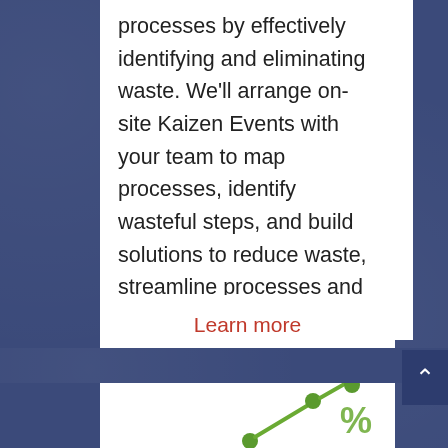processes by effectively identifying and eliminating waste. We'll arrange on-site Kaizen Events with your team to map processes, identify wasteful steps, and build solutions to reduce waste, streamline processes and better focus on productive, Value Added activities.
Learn more
[Figure (illustration): Partial view of a green line chart or upward trend icon with circular data points, partially visible at the bottom of the page]